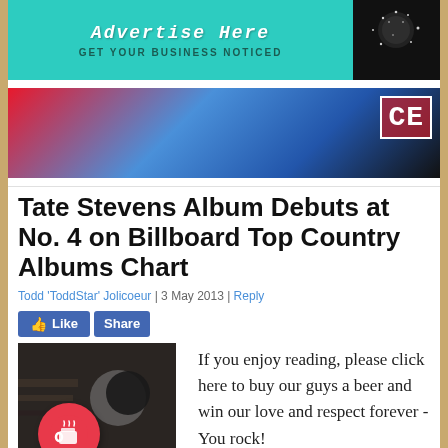[Figure (infographic): Teal advertisement banner reading 'Advertise Here / GET YOUR BUSINESS NOTICED' with a dark image to the right]
[Figure (infographic): Colorful banner advertisement with red, blue and dark colors, logo 'CE' in top right corner]
Tate Stevens Album Debuts at No. 4 on Billboard Top Country Albums Chart
Todd 'ToddStar' Jolicoeur | 3 May 2013 | Reply
[Figure (infographic): Facebook Like and Share buttons, album cover image, coffee/beer donation button icon]
If you enjoy reading, please click here to buy our guys a beer and win our love and respect forever - You rock!